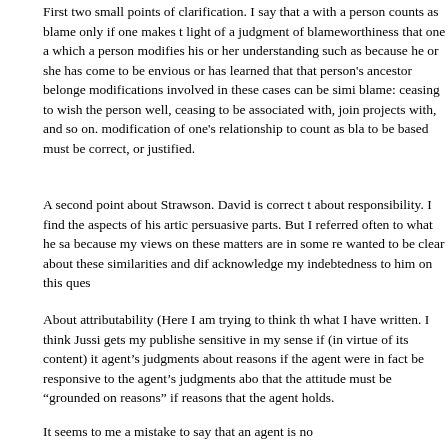First two small points of clarification. I say that a with a person counts as blame only if one makes t light of a judgment of blameworthiness that one a which a person modifies his or her understanding such as because he or she has come to be envious or has learned that that person's ancestor belonge modifications involved in these cases can be simi blame: ceasing to wish the person well, ceasing to be associated with, join projects with, and so on. modification of one's relationship to count as bla to be based must be correct, or justified.
A second point about Strawson. David is correct t about responsibility. I find the aspects of his artic persuasive parts. But I referred often to what he sa because my views on these matters are in some re wanted to be clear about these similarities and dif acknowledge my indebtedness to him on this ques
About attributability (Here I am trying to think th what I have written. I think Jussi gets my publishe sensitive in my sense if (in virtue of its content) it agent's judgments about reasons if the agent were in fact be responsive to the agent's judgments abo that the attitude must be "grounded on reasons" if reasons that the agent holds.
It seems to me a mistake to say that an agent is no